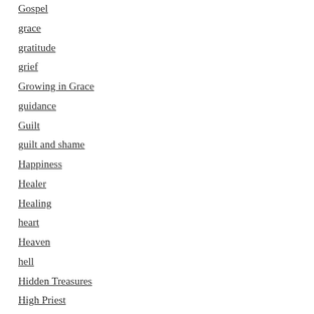Gospel
grace
gratitude
grief
Growing in Grace
guidance
Guilt
guilt and shame
Happiness
Healer
Healing
heart
Heaven
hell
Hidden Treasures
High Priest
HIS SUFFICIENCY
Holiness
Holy Spirit